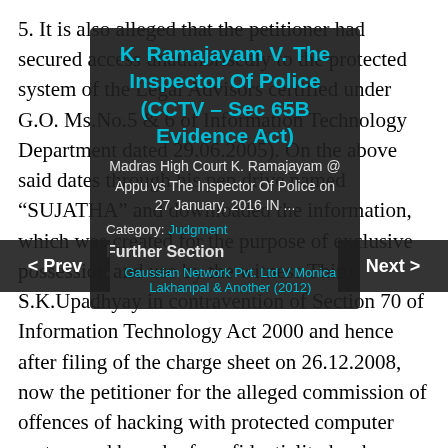5. It is also alleged that the petitioner had secured access unauthorisedly to the protected system of the Legal Advisors certified under G.O. Ms.No.5 & 6 of Information Technology Department dated 29.06.2005). On the above said dates through his pen drive named "SUJATHA" and downloaded the information, which was created for the purpose of exclusive possession and use by the witness Thiru S.K.Upadhyay in contravention of Section 70 of Information Technology Act 2000 and hence after filing of the charge sheet on 26.12.2008, now the petitioner for the alleged commission of offences of hacking with protected computer system and breach of confidentiality has been facing three charges under Sections 65, 72 and Section 70 of Information
K. Ramajayam V. The Inspector Of Police (CCTV – Sec 65B Evidence Act)
Madras High Court K. Ramajayam @ Appu vs The Inspector Of Police on 27 January, 2016 IN ...
Category: Judgment
Further Section
Gaussian Network Pvt. Ltd V Monica Lakhanpal & Another (2012)